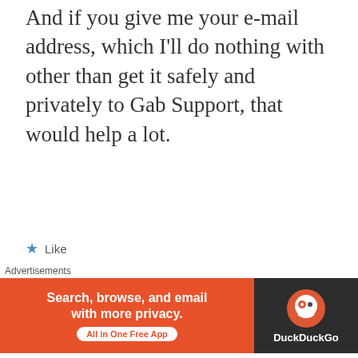And if you give me your e-mail address, which I'll do nothing with other than get it safely and privately to Gab Support, that would help a lot.
★ Like
REPLY
[Figure (illustration): Avatar of user Debbie: cartoon ghost character in teal/green color with small red rectangle, white gloves, and black hair-like plant on top, on a beige circular background]
Debbie
NOVEMBER 11, 2016 AT
10:29 AM
Well, I wrote you a message on Twitter
Advertisements
[Figure (screenshot): DuckDuckGo advertisement banner: orange left side with text 'Search, browse, and email with more privacy. All in One Free App' and dark right side with DuckDuckGo circular logo and label]